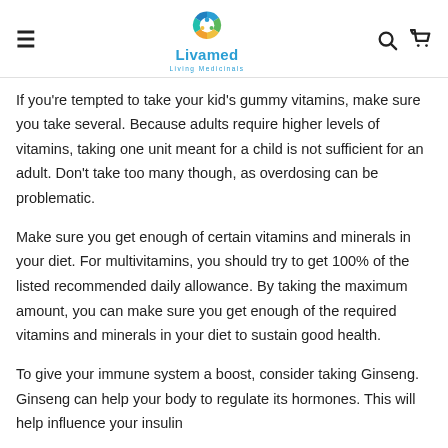Livamed Living Medicinals
If you’re tempted to take your kid’s gummy vitamins, make sure you take several. Because adults require higher levels of vitamins, taking one unit meant for a child is not sufficient for an adult. Don't take too many though, as overdosing can be problematic.
Make sure you get enough of certain vitamins and minerals in your diet. For multivitamins, you should try to get 100% of the listed recommended daily allowance. By taking the maximum amount, you can make sure you get enough of the required vitamins and minerals in your diet to sustain good health.
To give your immune system a boost, consider taking Ginseng. Ginseng can help your body to regulate its hormones. This will help influence your insulin